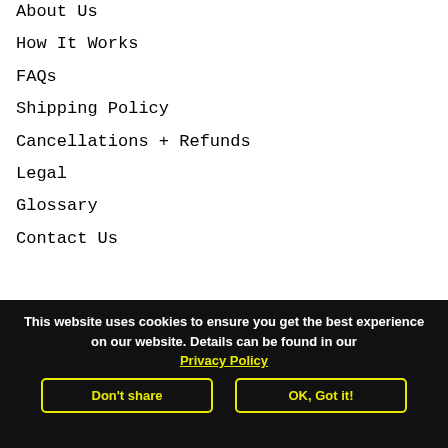About Us
How It Works
FAQs
Shipping Policy
Cancellations + Refunds
Legal
Glossary
Contact Us
This website uses cookies to ensure you get the best experience on our website. Details can be found in our Privacy Policy
Don't share
OK, Got it!